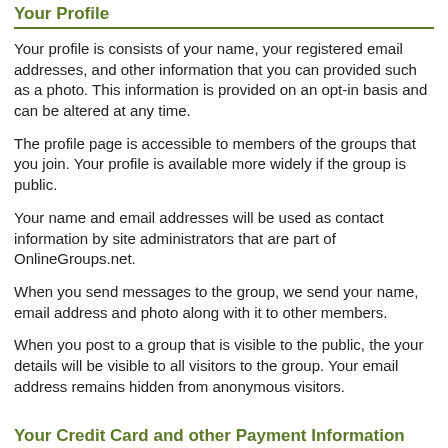Your Profile
Your profile is consists of your name, your registered email addresses, and other information that you can provided such as a photo. This information is provided on an opt-in basis and can be altered at any time.
The profile page is accessible to members of the groups that you join. Your profile is available more widely if the group is public.
Your name and email addresses will be used as contact information by site administrators that are part of OnlineGroups.net.
When you send messages to the group, we send your name, email address and photo along with it to other members.
When you post to a group that is visible to the public, the your details will be visible to all visitors to the group. Your email address remains hidden from anonymous visitors.
Your Credit Card and other Payment Information